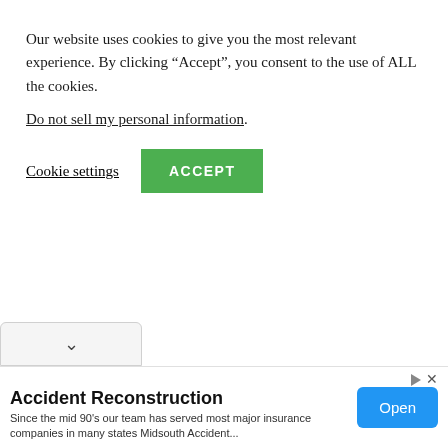Our website uses cookies to give you the most relevant experience. By clicking “Accept”, you consent to the use of ALL the cookies.
Do not sell my personal information.
Cookie settings
ACCEPT
to satisfy the under listed requirements.
Accident Reconstruction
Since the mid 90’s our team has served most major insurance companies in many states Midsouth Accident...
Open